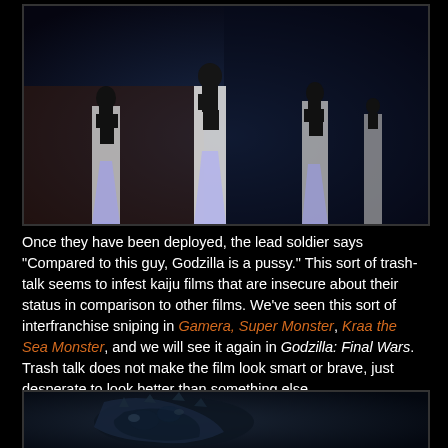[Figure (photo): Dark scene showing three soldiers or figures in black clothing standing/riding on tall white cylindrical structures with light beams emanating from the bottom, against a dark blue background]
Once they have been deployed, the lead soldier says "Compared to this guy, Godzilla is a pussy." This sort of trash-talk seems to infest kaiju films that are insecure about their status in comparison to other films. We've seen this sort of interfranchise sniping in Gamera, Super Monster, Kraa the Sea Monster, and we will see it again in Godzilla: Final Wars. Trash talk does not make the film look smart or brave, just desperate to look better than something else.
[Figure (photo): Dark scene showing what appears to be a monster or creature with blue-gray tones, partially visible at the bottom of the page]